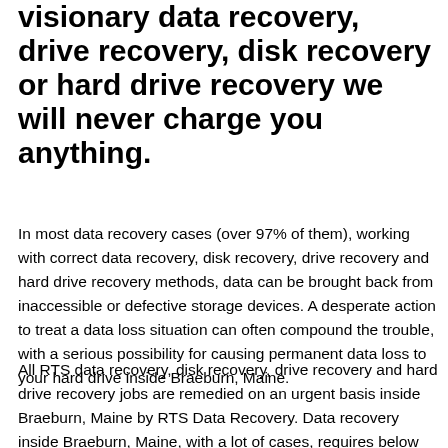visionary data recovery, drive recovery, disk recovery or hard drive recovery we will never charge you anything.
In most data recovery cases (over 97% of them), working with correct data recovery, disk recovery, drive recovery and hard drive recovery methods, data can be brought back from inaccessible or defective storage devices. A desperate action to treat a data loss situation can often compound the trouble, with a serious possibility for causing permanent data loss to your hard drive inside Braeburn, Maine.
All RTS data recovery, disk recovery, drive recovery and hard drive recovery jobs are remedied on an urgent basis inside Braeburn, Maine by RTS Data Recovery. Data recovery inside Braeburn, Maine, with a lot of cases, requires below 24 hours to do. Our High Success Rate means we average an over 90%